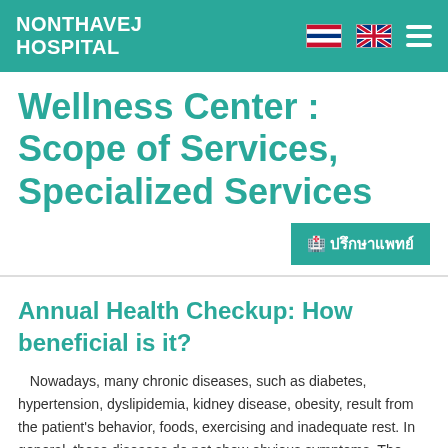NONTHAVEJ HOSPITAL
Wellness Center : Scope of Services, Specialized Services
ปรึกษาแพทย์
Annual Health Checkup: How beneficial is it?
Nowadays, many chronic diseases, such as diabetes, hypertension, dyslipidemia, kidney disease, obesity, result from the patient's behavior, foods, exercising and inadequate rest. In general, these diseases do not show obvious symptoms. The patients often seek treatment only after suffering some internal organ damage.